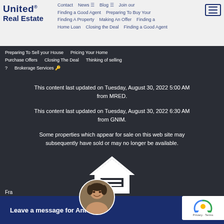[Figure (logo): United Real Estate logo in dark navy blue]
Contact  News  Blog  Join our  Finding a Good Agent  Preparing To Buy Your  Finding A Property  Making An Offer  Finding a Home Loan  Closing the Deal  Finding a Good Agent
[Figure (other): Hamburger menu icon button]
Preparing To Sell your House    Pricing Your Home
Purchase Offers    Closing The Deal    Thinking of selling ?
Brokerage Services
This content last updated on Tuesday, August 30, 2022 5:00 AM from MRED.
This content last updated on Tuesday, August 30, 2022 6:30 AM from GNIM.
Some properties which appear for sale on this web site may subsequently have sold or may no longer be available.
[Figure (logo): Equal Housing Opportunity logo - house outline with equal sign, labeled EQUAL HOUSING]
Fra
Leave a message for Antonio
[Figure (photo): Photo of Antonio, a man smiling]
[Figure (other): Google reCAPTCHA badge with Privacy and Terms links]